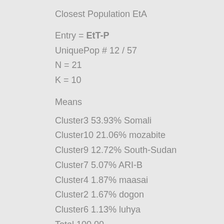Closest Population EtA
Entry = EtT-P
UniquePop # 12 / 57
N = 21
K = 10
Means
Cluster3 53.93% Somali
Cluster10 21.06% mozabite
Cluster9 12.72% South-Sudan
Cluster7 5.07% ARI-B
Cluster4 1.87% maasai
Cluster2 1.67% dogon
Cluster6 1.13% luhya
Total 100.00
Medians
Cluster3 54.23% Somali
Cluster10 21.69% mozabite